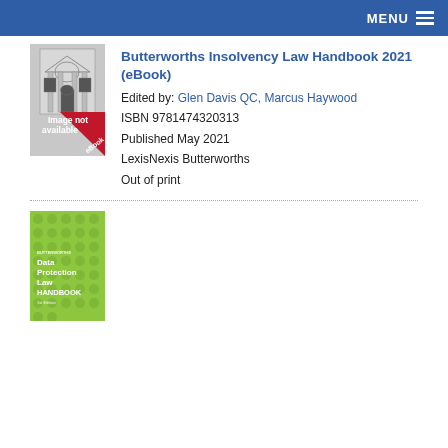MENU
[Figure (illustration): Book cover for Butterworths Insolvency Law Handbook 2021 eBook - grey cover with building illustration and red eBook banner]
Butterworths Insolvency Law Handbook 2021 (eBook)
Edited by: Glen Davis QC, Marcus Haywood
ISBN 9781474320313
Published May 2021
LexisNexis Butterworths
Out of print
[Figure (illustration): Book cover for Butterworths Data Protection Law Handbook - green cover with polka dot pattern and white text]